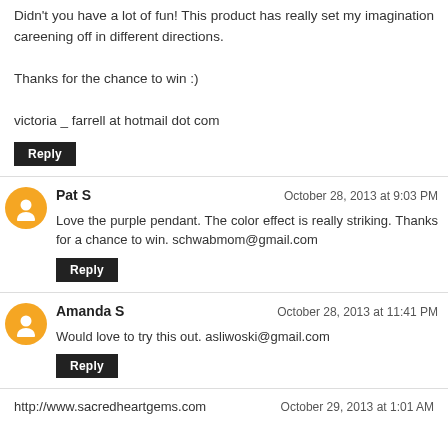Didn't you have a lot of fun! This product has really set my imagination careening off in different directions.

Thanks for the chance to win :)

victoria _ farrell at hotmail dot com
Reply
Pat S
October 28, 2013 at 9:03 PM
Love the purple pendant. The color effect is really striking. Thanks for a chance to win. schwabmom@gmail.com
Reply
Amanda S
October 28, 2013 at 11:41 PM
Would love to try this out. asliwoski@gmail.com
Reply
http://www.sacredheartgems.com
October 29, 2013 at 1:01 AM